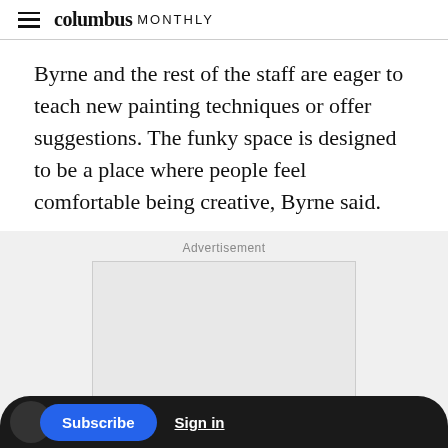columbus MONTHLY
Byrne and the rest of the staff are eager to teach new painting techniques or offer suggestions. The funky space is designed to be a place where people feel comfortable being creative, Byrne said.
[Figure (other): Advertisement placeholder box with label 'Advertisement' above it]
Subscribe  Sign in